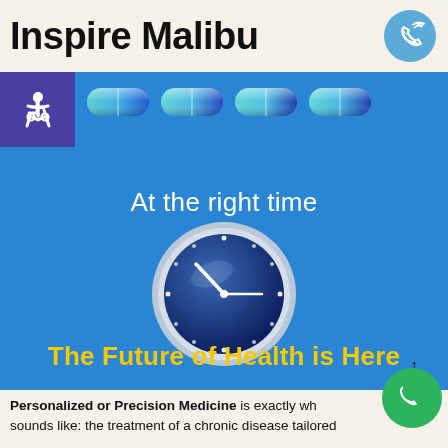Inspire Malibu
[Figure (infographic): Blue background infographic with pill capsules at top, text 'At the right time', a clock illustration in the center, and yellow bold text 'The Future of Health is Here' at the bottom. Includes accessibility icon and phone icons.]
Personalized or Precision Medicine is exactly what it sounds like: the treatment of a chronic disease tailored